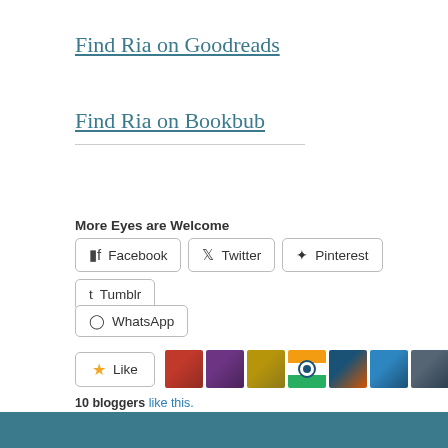Find Ria on Goodreads
Find Ria on Bookbub
More Eyes are Welcome
Facebook  Twitter  Pinterest  Tumblr  WhatsApp (share buttons)
Like
10 bloggers like this.